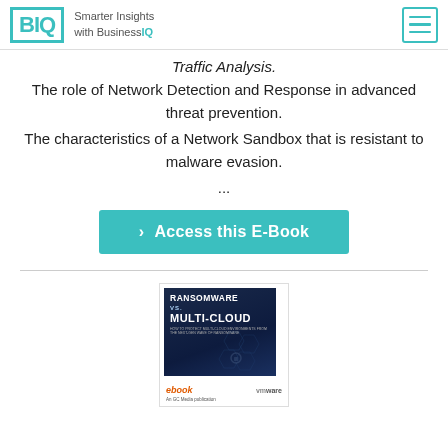BIQ — Smarter Insights with BusinessIQ
Traffic Analysis.
The role of Network Detection and Response in advanced threat prevention.
The characteristics of a Network Sandbox that is resistant to malware evasion.
...
› Access this E-Book
[Figure (illustration): Book cover for 'Ransomware vs. Multi-Cloud' ebook published by GC Media, sponsored by VMware. Dark blue background with hexagonal pattern and lock icon. Footer shows orange 'ebook' label and VMware logo.]